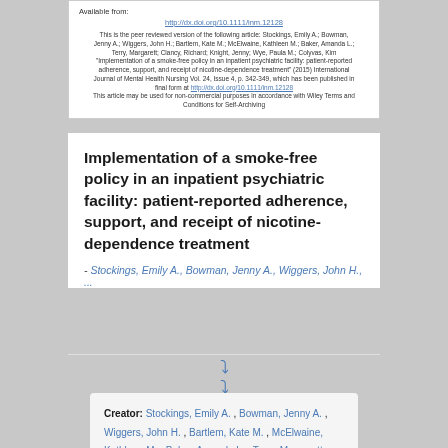Available from:
http://dx.doi.org/10.1111/inm.12128
This is the peer reviewed version of the following article: Stockings, Emily A.; Bowman, Jenny A.; Wiggers, John H.; Bartlem, Kate M.; McElwaine, Kathleen M.; Baker, Amanda L.; Terry, Margarett; Clancy, Richard; Knight, Jenny; Wye, Paula M.; Colyvas, Kim "Implementation of a smoke-free policy in an inpatient psychiatric facility: patient-reported adherence, support, and receipt of nicotine-dependence treatment" (2015) International Journal of Mental Health Nursing Vol. 24, Issue 4, p. 342-349, which has been published in final form at http://dx.doi.org/10.1111/inm.12128 This article may be used for non-commercial purposes in accordance with Wiley Terms and Conditions for Self-Archiving
Implementation of a smoke-free policy in an inpatient psychiatric facility: patient-reported adherence, support, and receipt of nicotine-dependence treatment
- Stockings, Emily A., Bowman, Jenny A., Wiggers, John H., ...
Creator: Stockings, Emily A. , Bowman, Jenny A. , Wiggers, John H. , Bartlem, Kate M. , McElwaine, Kathleen M. , Baker, Amanda L. , Terry, Margarett , Clancy, Richard , Knight, Jenny , Wye, Paula M. ,